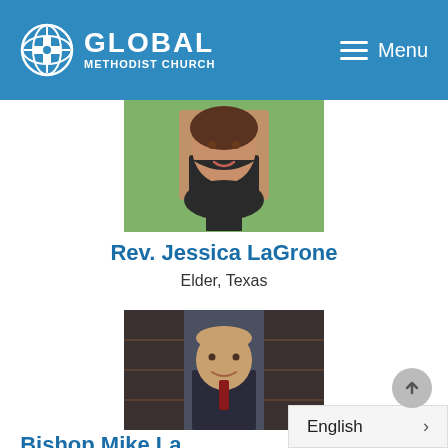GLOBAL METHODIST CHURCH — Menu
[Figure (photo): Portrait photo of Rev. Jessica LaGrone, a woman with brown hair wearing a black top and pearl necklace, smiling, with green foliage in the background.]
Rev. Jessica LaGrone
Elder, Texas
[Figure (photo): Portrait photo of Bishop Mike Lowry, an older man in a dark suit with a red tie, standing in front of bookshelves.]
Bishop Mike La...